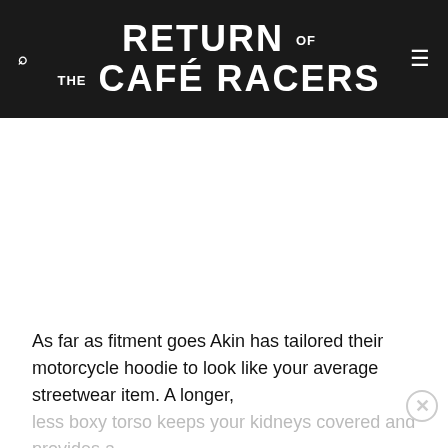RETURN OF THE CAFÉ RACERS
[Figure (other): White blank content area (advertisement or image placeholder)]
As far as fitment goes Akin has tailored their motorcycle hoodie to look like your average streetwear item. A longer, less boxy torso keeps your kidneys covered and provides a relaxed fit when you're off the bike. A bit of extra length in the